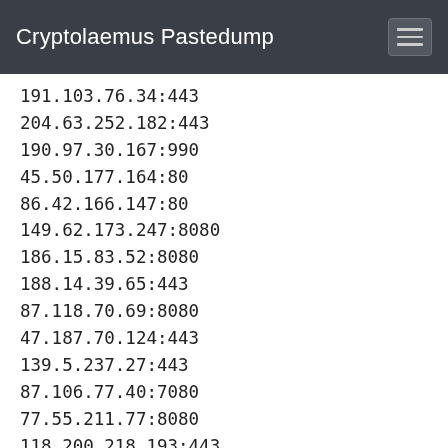Cryptolaemus Pastedump
191.103.76.34:443
204.63.252.182:443
190.97.30.167:990
45.50.177.164:80
86.42.166.147:80
149.62.173.247:8080
186.15.83.52:8080
188.14.39.65:443
87.118.70.69:8080
47.187.70.124:443
139.5.237.27:443
87.106.77.40:7080
77.55.211.77:8080
118.200.218.193:443
203.25.159.3:8080
51.255.165.160:8080
178.79.163.131:8080
96.61.113.203:80
190.4.50.26:80